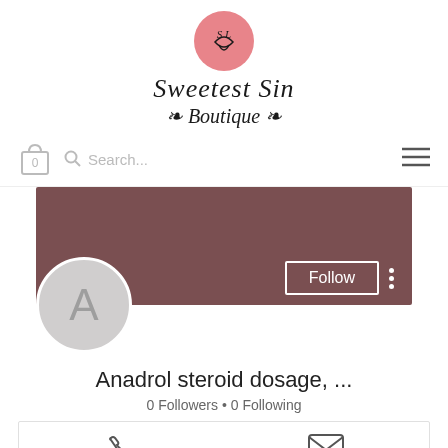[Figure (logo): Sweetest Sin Boutique logo with pink circle containing heart and SL monogram, with cursive text below]
[Figure (screenshot): Website navigation bar with shopping bag icon showing 0, search box with placeholder text, and hamburger menu]
[Figure (screenshot): Social profile area with dark mauve/brown banner, circular avatar with letter A, Follow button, and three-dot menu]
Anadrol steroid dosage, ...
0 Followers • 0 Following
[Figure (screenshot): Action bar at bottom with phone icon and email/message icon]